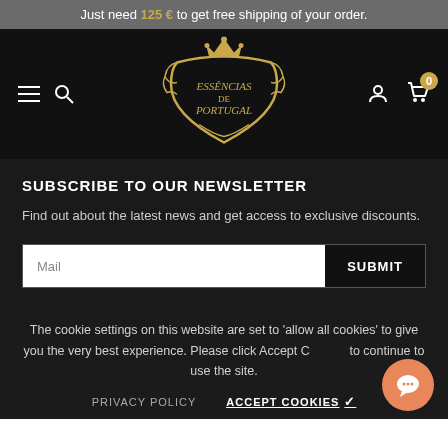Just need 125 € to get free shipping of your order.
[Figure (logo): Essências de Portugal ornate gold crest logo on black navigation bar with hamburger menu, search icon, user icon, and cart icon showing badge 0]
SUBSCRIBE TO OUR NEWSLETTER
Find out about the latest news and get access to exclusive discounts.
Mail [input field] SUBMIT [button]
The cookie settings on this website are set to 'allow all cookies' to give you the very best experience. Please click Accept Cookies to continue to use the site.
PRIVACY POLICY   ACCEPT COOKIES ✓